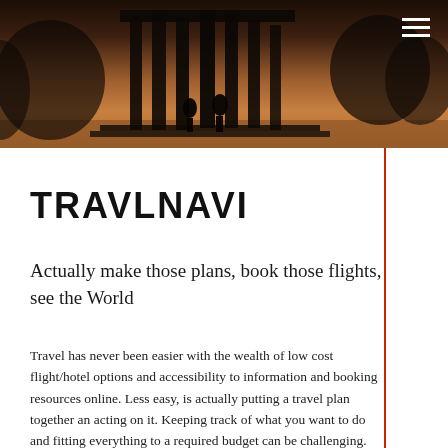[Figure (photo): Dark sepia-toned hero image showing silhouettes of classical columns or monument architecture against a warm amber/golden sky background]
TRAVLNAVI
Actually make those plans, book those flights, see the World
Travel has never been easier with the wealth of low cost flight/hotel options and accessibility to information and booking resources online. Less easy, is actually putting a travel plan together an acting on it. Keeping track of what you want to do and fitting everything to a required budget can be challenging. For bigger plans, it can be hard to keep all your notes together and organised to allow you to pull of that once in a lifetime trip.